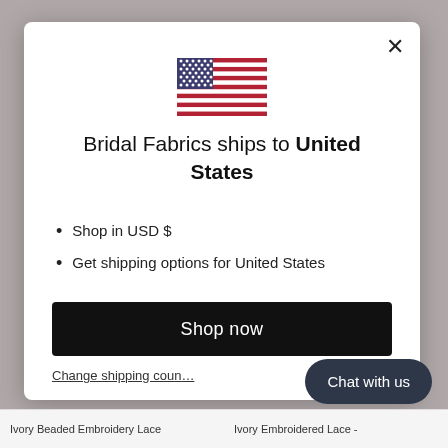[Figure (illustration): US flag emoji/icon centered in modal dialog]
Bridal Fabrics ships to United States
Shop in USD $
Get shipping options for United States
Shop now
Change shipping country
Chat with us
Ivory Beaded Embroidery Lace
Ivory Embroidered Lace -